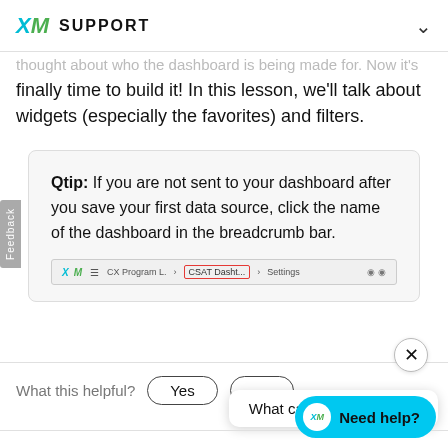XM SUPPORT
thought about who the dashboard is being made for. Now it's finally time to build it! In this lesson, we'll talk about widgets (especially the favorites) and filters.
Qtip: If you are not sent to your dashboard after you save your first data source, click the name of the dashboard in the breadcrumb bar.
[Figure (screenshot): Breadcrumb bar screenshot showing XM logo, hamburger menu, CX Program L., CSAT Dasht... highlighted in red box, Settings, and icons]
What this helpful?
Yes
What can I help you find?
Need help?